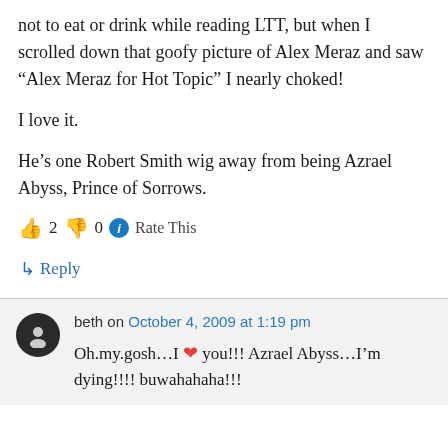not to eat or drink while reading LTT, but when I scrolled down that goofy picture of Alex Meraz and saw “Alex Meraz for Hot Topic” I nearly choked!

I love it.

He’s one Robert Smith wig away from being Azrael Abyss, Prince of Sorrows.
👍 2 👎 0 ℹ Rate This
↳ Reply
beth on October 4, 2009 at 1:19 pm
Oh.my.gosh…I ❤ you!!! Azrael Abyss…I’m dying!!!! buwahahaha!!!